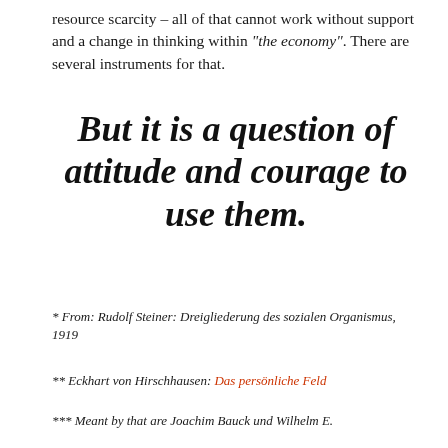resource scarcity – all of that cannot work without support and a change in thinking within "the economy". There are several instruments for that.
But it is a question of attitude and courage to use them.
* From: Rudolf Steiner: Dreigliederung des sozialen Organismus, 1919
** Eckhart von Hirschhausen: Das persönliche Feld
*** Meant by that are Joachim Bauck und Wilhelm E.